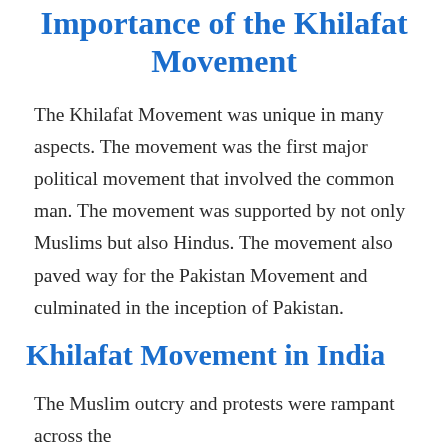Importance of the Khilafat Movement
The Khilafat Movement was unique in many aspects. The movement was the first major political movement that involved the common man. The movement was supported by not only Muslims but also Hindus. The movement also paved way for the Pakistan Movement and culminated in the inception of Pakistan.
Khilafat Movement in India
The Muslim outcry and protests were rampant across the world, but major activities related to the Khilafat Movement took place in India. The Muslim leaders in India decided to launch a movement to protect the